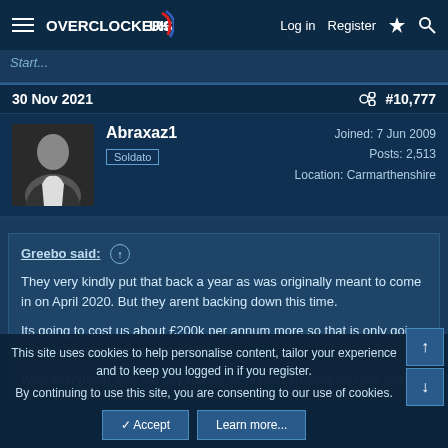Overclockers UK — Log in  Register
Star...
30 Nov 2021   #10,777
Abraxaz1
Soldato
Joined: 7 Jun 2009
Posts: 2,513
Location: Carmarthenshire
Greebo said: ↑

They very kindly put that back a year as was originally meant to come in on April 2020. But they arent backing down this time.

Its going to cost us about £200k per annum more so that is only going one place, on our customers bills.

With everything else we buy having increased 10-20% for new year...
This site uses cookies to help personalise content, tailor your experience and to keep you logged in if you register.
By continuing to use this site, you are consenting to our use of cookies.
✓ Accept    Learn more...